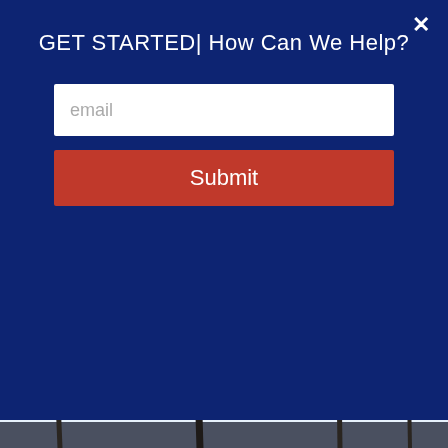GET STARTED| How Can We Help?
email
Submit
[Figure (screenshot): Website header showing Steve Christian Homes logo, Steven Christian name, Coldwell Banker Realty logo, agent photo, and text: Serving Westfield, Cranford, Clark, Scotch Plains, Fanwood and surrounding area.]
Sell  Buy  Contact  Blog
Call/Text Me 917-608-7277
Menu
[Figure (photo): Outdoor scene showing bare leafless trees against a light blue winter sky with some buildings visible in the background.]